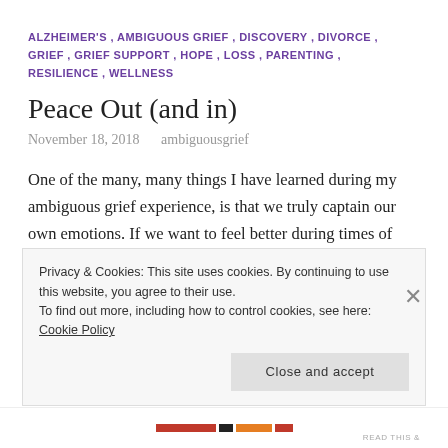ALZHEIMER'S , AMBIGUOUS GRIEF , DISCOVERY , DIVORCE , GRIEF , GRIEF SUPPORT , HOPE , LOSS , PARENTING , RESILIENCE , WELLNESS
Peace Out (and in)
November 18, 2018    ambiguousgrief
One of the many, many things I have learned during my ambiguous grief experience, is that we truly captain our own emotions.  If we want to feel better during times of loss, whether by death or by discovery, divorce or diagnosis, it's up to us to make that happen.  When I first started to
Privacy & Cookies: This site uses cookies. By continuing to use this website, you agree to their use.
To find out more, including how to control cookies, see here: Cookie Policy

Close and accept